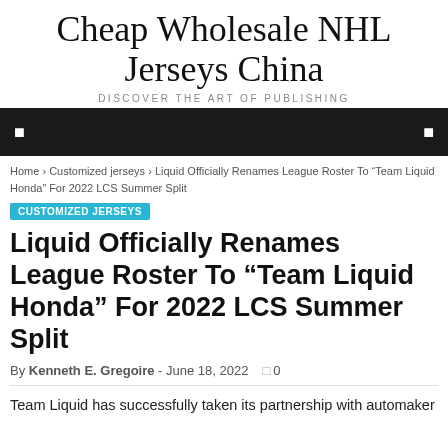Cheap Wholesale NHL Jerseys China
DISCOVER THE ART OF PUBLISHING
Home › Customized jerseys › Liquid Officially Renames League Roster To "Team Liquid Honda" For 2022 LCS Summer Split
CUSTOMIZED JERSEYS
Liquid Officially Renames League Roster To “Team Liquid Honda” For 2022 LCS Summer Split
By Kenneth E. Gregoire - June 18, 2022  0
Team Liquid has successfully taken its partnership with automaker